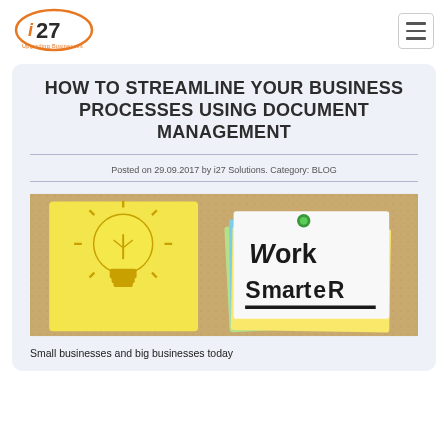i27 Upgrading Businesses logo and navigation
HOW TO STREAMLINE YOUR BUSINESS PROCESSES USING DOCUMENT MANAGEMENT
Posted on 29.09.2017 by i27 Solutions. Category: BLOG
[Figure (photo): Cork board with a yellow sticky note lightbulb cutout and a stack of colorful sticky notes with 'Work Smarter' written in black marker]
Small businesses and big businesses today